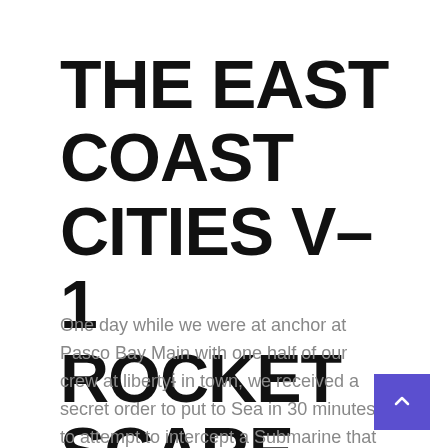THE EAST COAST CITIES V-1 ROCKET SCARE
One day while we were at anchor at Pasco Bay Main with one half of our crew at libertyÍ in town, we received a secret order to put to Sea in 30 minutes to attempt to intercept a Submarine that had been seen by our spies in Germany to go out to Sea out of